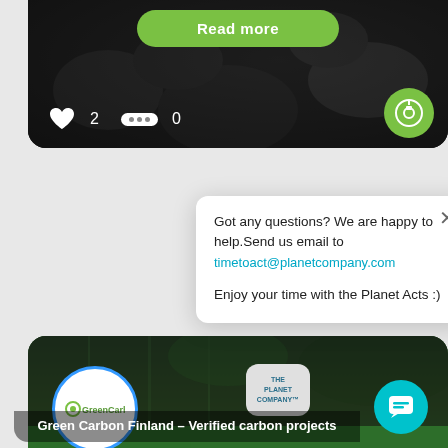[Figure (screenshot): Top card showing dark background with a green 'Read more' button, heart icon with count 2, chat bubble icon with count 0, and a green circular button on the right]
[Figure (screenshot): Bottom card showing Green Carbon Finland app card with large white text 'NISH' and 'ARBON SIN' on dark green background, GreenCarbon logo circle on left, The Planet Company badge, and a popup dialog]
Got any questions? We are happy to help.Send us email to timetoact@planetcompany.com
Enjoy your time with the Planet Acts :)
Green Carbon Finland – Verified carbon projects